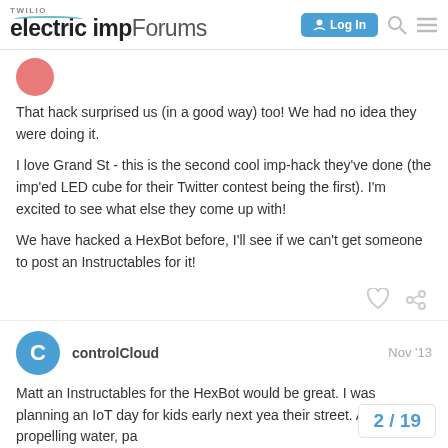TWILIO electric imp Forums | Log In
[Figure (other): Partial avatar image (pink/salmon circle) of a forum user]
That hack surprised us (in a good way) too! We had no idea they were doing it.
I love Grand St - this is the second cool imp-hack they've done (the imp'ed LED cube for their Twitter contest being the first). I'm excited to see what else they come up with!
We have hacked a HexBot before, I'll see if we can't get someone to post an Instructables for it!
controlCloud    Nov '13
Matt an Instructables for the HexBot would be great. I was planning an IoT day for kids early next year their street. Along with propelling water, pa
2 / 19